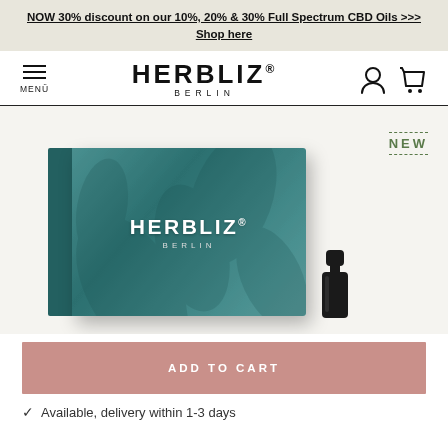NOW 30% discount on our 10%, 20% & 30% Full Spectrum CBD Oils >>> Shop here
[Figure (logo): HERBLIZ BERLIN logo with hamburger menu icon on left and user/cart icons on right]
[Figure (photo): Herbliz Berlin product box in teal with botanical leaf design, showing HERBLIZ BERLIN branding, alongside a small black bottle. NEW badge in green at top right.]
ADD TO CART
Available, delivery within 1-3 days